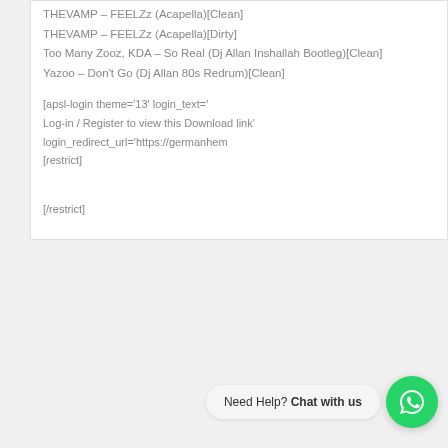THEVAMP – FEELZz (Acapella)[Clean]
THEVAMP – FEELZz (Acapella)[Dirty]
Too Many Zooz, KDA – So Real (Dj Allan Inshallah Bootleg)[Clean]
Yazoo – Don't Go (Dj Allan 80s Redrum)[Clean]
[apsl-login theme='13' login_text='Log-in / Register to view this Download link' login_redirect_url='https://germanhem[restrict]
[/restrict]
Need Help? Chat with us